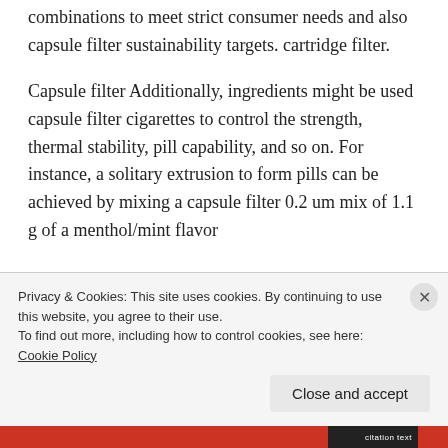combinations to meet strict consumer needs and also capsule filter sustainability targets. cartridge filter.
Capsule filter Additionally, ingredients might be used capsule filter cigarettes to control the strength, thermal stability, pill capability, and so on. For instance, a solitary extrusion to form pills can be achieved by mixing a capsule filter 0.2 um mix of 1.1 g of a menthol/mint flavor
Privacy & Cookies: This site uses cookies. By continuing to use this website, you agree to their use.
To find out more, including how to control cookies, see here: Cookie Policy